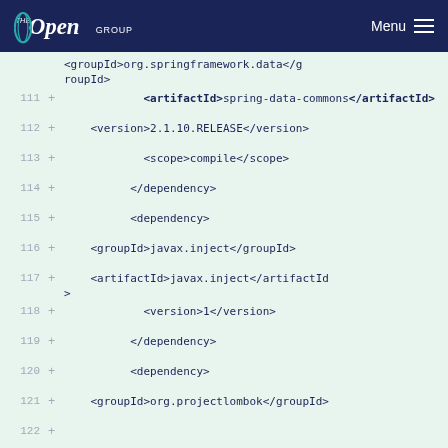The Open Group | Menu
Line 110+ <groupId>org.springframework.data</groupId>
Line 111+ <artifactId>spring-data-commons</artifactId>
Line 112+ <version>2.1.10.RELEASE</version>
Line 113+ <scope>compile</scope>
Line 114+ </dependency>
Line 115+ <dependency>
Line 116+ <groupId>javax.inject</groupId>
Line 117+ <artifactId>javax.inject</artifactId>
Line 118+ <version>1</version>
Line 119+ </dependency>
Line 120+ <dependency>
Line 121+ <groupId>org.projectlombok</groupId>
Line 122+